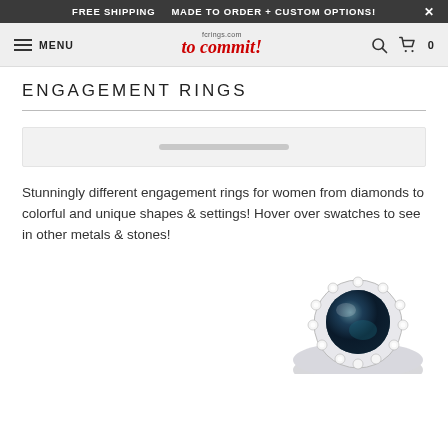FREE SHIPPING   MADE TO ORDER + CUSTOM OPTIONS!   X
fcerings.com to commit! MENU  [search icon] [cart] 0
ENGAGEMENT RINGS
[Figure (screenshot): A loading/filter bar placeholder with a light gray background and a centered short gray bar element]
Stunningly different engagement rings for women from diamonds to colorful and unique shapes & settings! Hover over swatches to see in other metals & stones!
[Figure (photo): Bottom portion of a silver engagement ring with a large dark iridescent pearl or stone surrounded by a halo of small sparkling crystals/diamonds]